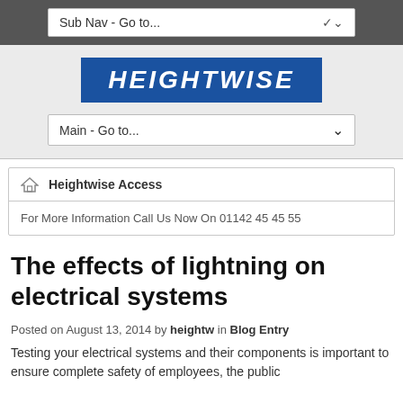Sub Nav - Go to...
[Figure (logo): HEIGHTWISE logo — white italic bold text on blue background]
Main - Go to...
Heightwise Access
For More Information Call Us Now On 01142 45 45 55
The effects of lightning on electrical systems
Posted on August 13, 2014 by heightw in Blog Entry
Testing your electrical systems and their components is important to ensure complete safety of employees, the public